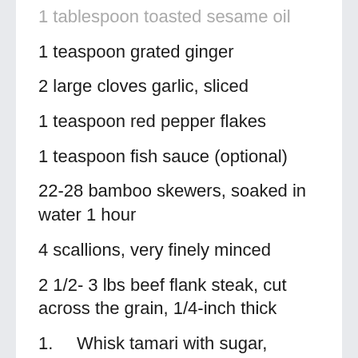1 tablespoon toasted sesame oil
1 teaspoon grated ginger
2 large cloves garlic, sliced
1 teaspoon red pepper flakes
1 teaspoon fish sauce (optional)
22-28 bamboo skewers, soaked in water 1 hour
4 scallions, very finely minced
2 1/2- 3 lbs beef flank steak, cut across the grain, 1/4-inch thick
1.    Whisk tamari with sugar, sherry, sesame oil and ginger until sugar is